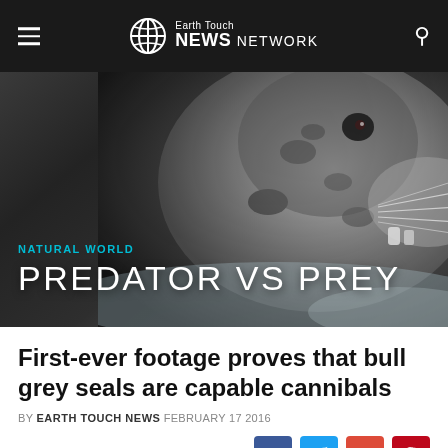Earth Touch NEWS NETWORK
[Figure (photo): Hero image showing close-up of a grey seal underwater with text overlay: NATURAL WORLD / PREDATOR VS PREY]
First-ever footage proves that bull grey seals are capable cannibals
BY EARTH TOUCH NEWS FEBRUARY 17 2016